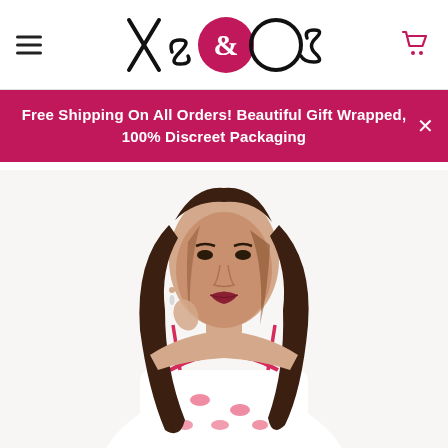Xs & Os — navigation header with hamburger menu, logo, and cart icon
Free Shipping On All Orders! Beautiful Gift Wrapped, 100% Discreet Packaging
[Figure (photo): A woman with long wavy brown hair wearing a white camisole top with red heart/lip prints and red trim, photographed from approximately chest up against a white background.]